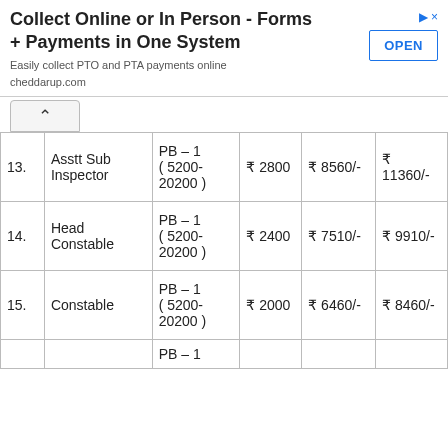[Figure (screenshot): Advertisement banner: 'Collect Online or In Person - Forms + Payments in One System' with OPEN button, subtitle 'Easily collect PTO and PTA payments online cheddarup.com']
| No. | Post | Pay Band | Grade Pay | Basic Pay | Total |
| --- | --- | --- | --- | --- | --- |
| 13. | Asstt Sub Inspector | PB – 1 ( 5200- 20200 ) | ₹ 2800 | ₹ 8560/- | ₹ 11360/- |
| 14. | Head Constable | PB – 1 ( 5200- 20200 ) | ₹ 2400 | ₹ 7510/- | ₹ 9910/- |
| 15. | Constable | PB – 1 ( 5200- 20200 ) | ₹ 2000 | ₹ 6460/- | ₹ 8460/- |
| 16. |  | PB – 1 |  |  |  |